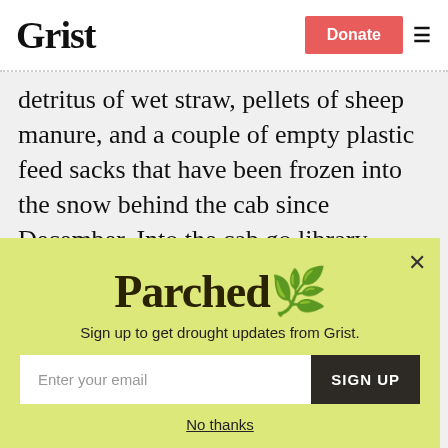Grist | Donate
detritus of wet straw, pellets of sheep manure, and a couple of empty plastic feed sacks that have been frozen into the snow behind the cab since December. Into the cab go library books, shopping lists, coat, flashlight (just in case), and paperbacks to trade in at the bookstore.
[Figure (other): Parched newsletter signup popup with yellow-green background, showing the Parched logo, subtitle 'Sign up to get drought updates from Grist.', email input field, SIGN UP button, and 'No thanks' link.]